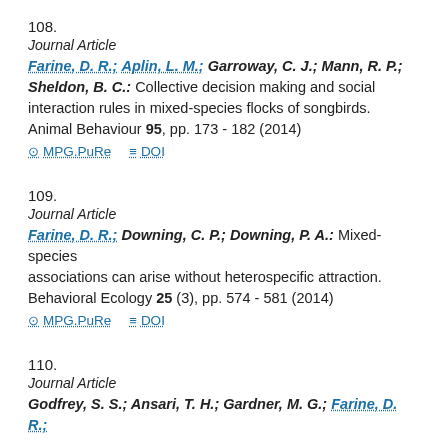108.
Journal Article
Farine, D. R.; Aplin, L. M.; Garroway, C. J.; Mann, R. P.; Sheldon, B. C.: Collective decision making and social interaction rules in mixed-species flocks of songbirds. Animal Behaviour 95, pp. 173 - 182 (2014)
MPG.PuRe   DOI
109.
Journal Article
Farine, D. R.; Downing, C. P.; Downing, P. A.: Mixed-species associations can arise without heterospecific attraction. Behavioral Ecology 25 (3), pp. 574 - 581 (2014)
MPG.PuRe   DOI
110.
Journal Article
Godfrey, S. S.; Ansari, T. H.; Gardner, M. G.; Farine, D. R.;